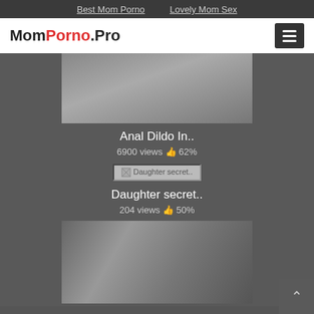Best Mom Porno   Lovely Mom Sex
MomPorno.Pro
[Figure (photo): Blurred video thumbnail showing a close-up scene, dark background]
Anal Dildo In..
6900 views 👍 62%
[Figure (photo): Broken image placeholder labeled 'Daughter secret..']
Daughter secret..
204 views 👍 50%
[Figure (photo): Video thumbnail showing a scene inside a car]